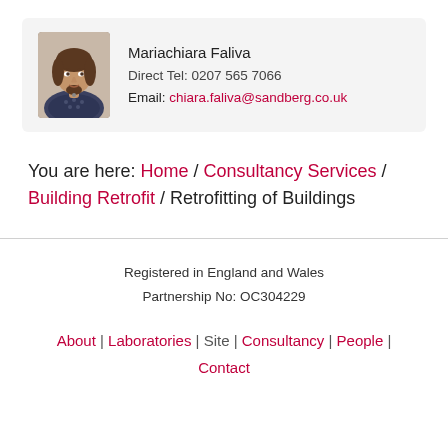[Figure (photo): Portrait photo of Mariachiara Faliva, a woman with dark hair wearing a patterned blouse]
Mariachiara Faliva
Direct Tel: 0207 565 7066
Email: chiara.faliva@sandberg.co.uk
You are here: Home / Consultancy Services / Building Retrofit / Retrofitting of Buildings
Registered in England and Wales
Partnership No: OC304229
About | Laboratories | Site | Consultancy | People | Contact